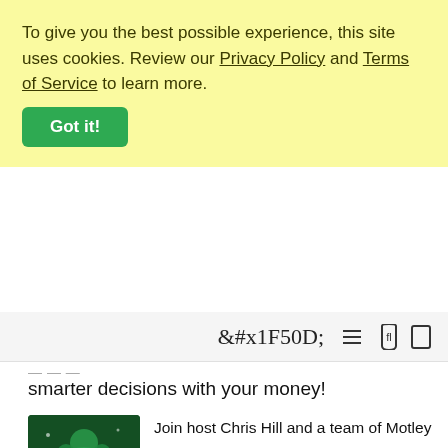To give you the best possible experience, this site uses cookies. Review our Privacy Policy and Terms of Service to learn more.
Got it!
[Figure (screenshot): Navigation bar with search and menu icons]
smarter decisions with your money!
[Figure (logo): Motley Fool Money podcast cover art - green background with jester hat logo and text 'Motley Fool Money']
Join host Chris Hill and a team of Motley Fool investment analysts as they cover the day's top business news and financial headlines, while breaking down the stock market implications for long-term, business-focused investors. Tune in on weekends for the greatest investing classes you never got the chance to take in school and perspectives from special guests helping to shape the